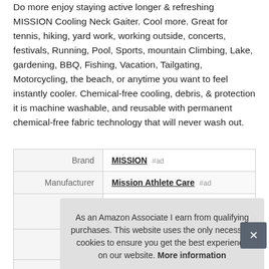Do more enjoy staying active longer & refreshing MISSION Cooling Neck Gaiter. Cool more. Great for tennis, hiking, yard work, working outside, concerts, festivals, Running, Pool, Sports, mountain Climbing, Lake, gardening, BBQ, Fishing, Vacation, Tailgating, Motorcycling, the beach, or anytime you want to feel instantly cooler. Chemical-free cooling, debris, & protection it is machine washable, and reusable with permanent chemical-free fabric technology that will never wash out.
|  |  |
| --- | --- |
| Brand | MISSION #ad |
| Manufacturer | Mission Athlete Care #ad |
| Width | 10 Inches |
As an Amazon Associate I earn from qualifying purchases. This website uses the only necessary cookies to ensure you get the best experience on our website. More information